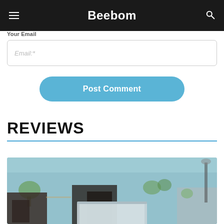Beebom
Your Email
Email:*
Post Comment
REVIEWS
[Figure (photo): Office interior with laptop in foreground, blurred background showing office furniture, plants, and equipment]